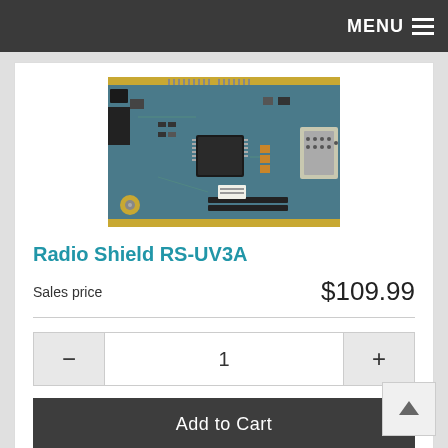MENU
[Figure (photo): Photo of a Radio Shield RS-UV3A circuit board (PCB) — blue PCB with various electronic components including connectors, chips, and a gold SMA connector]
Radio Shield RS-UV3A
Sales price   $109.99
1
Add to Cart